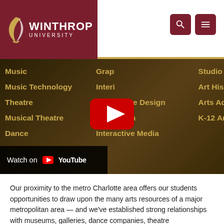Winthrop University
[Figure (screenshot): YouTube video thumbnail showing Winthrop University College of Visual and Performing Arts programs including Music, Music Technology, Theatre, Musical Theatre, Dance, Graphic Design, Interior Design, Experience Design, Illustration, Interactive Media, Studio Art, Art History, Arts Administration, K-12 Art. A red YouTube play button is in the center. 'Watch on YouTube' badge at bottom left.]
Our proximity to the metro Charlotte area offers our students opportunities to draw upon the many arts resources of a major metropolitan area — and we've established strong relationships with museums, galleries, dance companies, theatre organizations, orchestras, design firms, and many other arts institutions. The facilities we provide on campus include advanced technology studios in addition to…